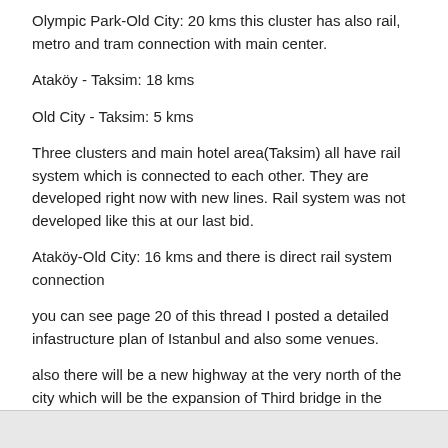Olympic Park-Old City: 20 kms this cluster has also rail, metro and tram connection with main center.
Ataköy - Taksim: 18 kms
Old City - Taksim: 5 kms
Three clusters and main hotel area(Taksim) all have rail system which is connected to each other. They are developed right now with new lines. Rail system was not developed like this at our last bid.
Ataköy-Old City: 16 kms and there is direct rail system connection
you can see page 20 of this thread I posted a detailed infastructure plan of Istanbul and also some venues.
also there will be a new highway at the very north of the city which will be the expansion of Third bridge in the north. This highway was planned to use as Olympic Lane in our 2008 plan.